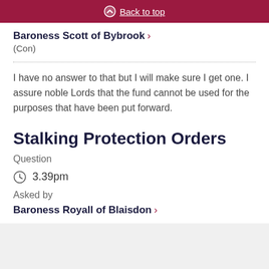Back to top
Baroness Scott of Bybrook
(Con)
I have no answer to that but I will make sure I get one. I assure noble Lords that the fund cannot be used for the purposes that have been put forward.
Stalking Protection Orders
Question
3.39pm
Asked by
Baroness Royall of Blaisdon